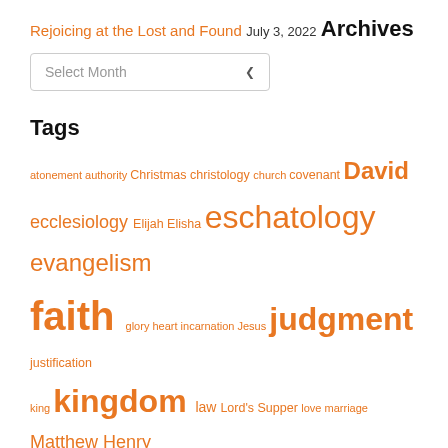Rejoicing at the Lost and Found
July 3, 2022
Archives
Select Month
Tags
atonement authority Christmas christology church covenant David ecclesiology Elijah Elisha eschatology evangelism faith glory heart incarnation Jesus judgment justification king kingdom law Lord's Supper love marriage Matthew Henry persecution prayer prophet providence regulative principle stewardship repentance resurrection